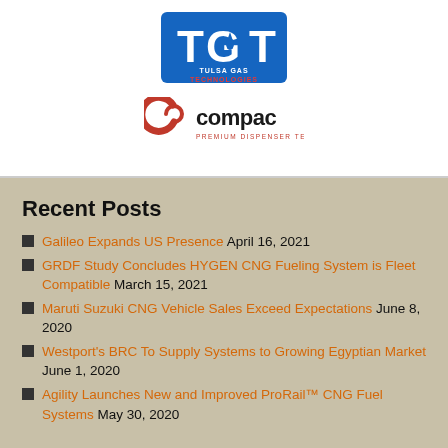[Figure (logo): TGT Tulsa Gas Technologies logo — blue square background with white TGT letters and red/blue text below]
[Figure (logo): Compac Premium Dispenser Technology logo — red circular swirl icon with Compac text and tagline]
Recent Posts
Galileo Expands US Presence April 16, 2021
GRDF Study Concludes HYGEN CNG Fueling System is Fleet Compatible March 15, 2021
Maruti Suzuki CNG Vehicle Sales Exceed Expectations June 8, 2020
Westport's BRC To Supply Systems to Growing Egyptian Market June 1, 2020
Agility Launches New and Improved ProRail™ CNG Fuel Systems May 30, 2020